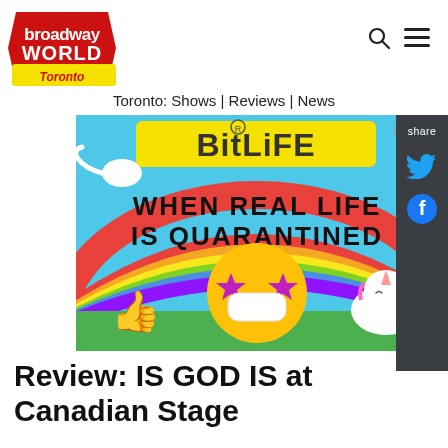BroadwayWorld Toronto
Toronto: Shows | Reviews | News
[Figure (photo): BitLife advertisement: 'WHEN REAL LIFE IS QUARANTINED' with emoji wearing mask, thumbs up, unicorn, and rainbow on blue background]
Review: IS GOD IS at Canadian Stage